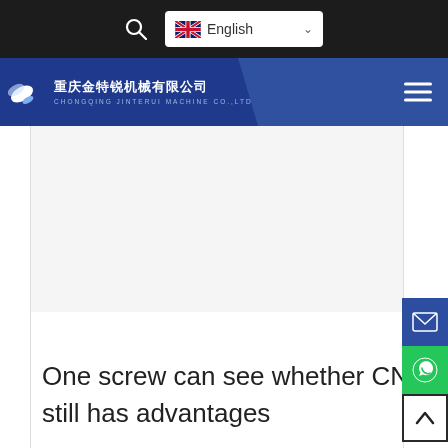[Figure (screenshot): Top browser navigation bar with dark background showing search icon and English language selector with UK flag]
[Figure (logo): Chongqing Jinterui Machine Co., Ltd company logo with Chinese characters, English text and wing/leaf icon on navy blue background with hamburger menu]
[Figure (screenshot): White content area placeholder with floating action buttons (email in blue, WhatsApp in green, back-to-top with up arrow)]
One screw can see whether CNC machining still has advantages